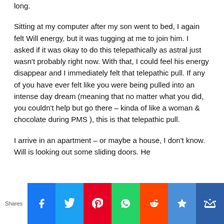long.
Sitting at my computer after my son went to bed, I again felt Will energy, but it was tugging at me to join him. I asked if it was okay to do this telepathically as astral just wasn't probably right now. With that, I could feel his energy disappear and I immediately felt that telepathic pull. If any of you have ever felt like you were being pulled into an intense day dream (meaning that no matter what you did, you couldn't help but go there – kinda of like a woman & chocolate during PMS ), this is that telepathic pull.
I arrive in an apartment – or maybe a house, I don't know. Will is looking out some sliding doors. He